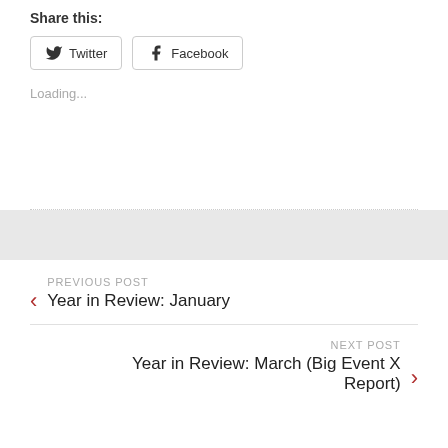Share this:
Twitter  Facebook
Loading...
PREVIOUS POST
Year in Review: January
NEXT POST
Year in Review: March (Big Event X Report)